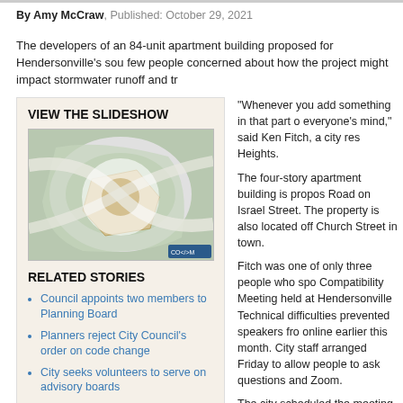By Amy McCraw, Published: October 29, 2021
The developers of an 84-unit apartment building proposed for Hendersonville's sou few people concerned about how the project might impact stormwater runoff and tr
VIEW THE SLIDESHOW
[Figure (photo): Aerial map/site plan image of proposed apartment building location]
RELATED STORIES
Council appoints two members to Planning Board
Planners reject City Council's order on code change
City seeks volunteers to serve on advisory boards
City to celebrate 175th anniversary with May 22 party
“Whenever you add something in that part o everyone’s mind,” said Ken Fitch, a city res Heights.
The four-story apartment building is propos Road on Israel Street. The property is also located off Church Street in town.
Fitch was one of only three people who spo Compatibility Meeting held at Hendersonville Technical difficulties prevented speakers fro online earlier this month. City staff arranged Friday to allow people to ask questions and Zoom.
The city scheduled the meeting after develo Sitework Studios and property owner David Inc. applied for a conditional rezoning from Mixed Use Conditional Zoning District. Roy